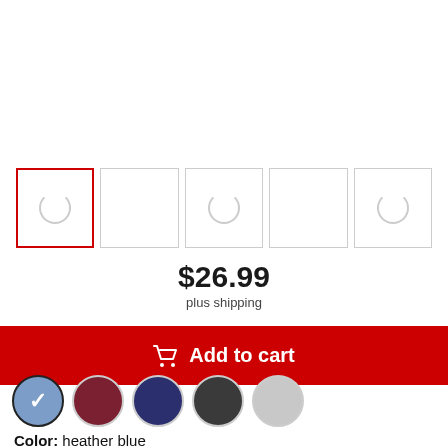[Figure (other): Row of 5 product thumbnail image placeholders with loading spinners; first is selected with red border]
$26.99
plus shipping
Add to cart
[Figure (other): Color swatches: heather blue (selected with checkmark), maroon, navy, charcoal, light gray]
Color: heather blue
S  M  L  XL  2XL